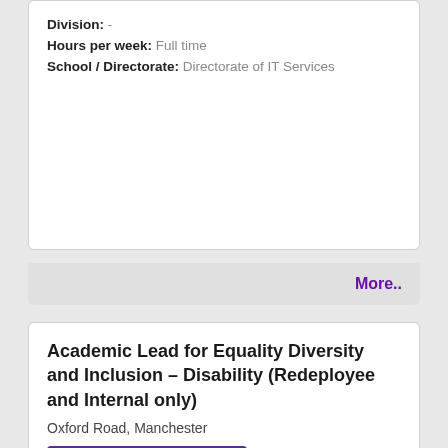Division: -
Hours per week: Full time
School / Directorate: Directorate of IT Services
More..
Academic Lead for Equality Diversity and Inclusion – Disability (Redeployee and Internal only)
Oxford Road, Manchester
[Figure (logo): University of Manchester logo: purple rectangle with MANCHESTER in white bold text, 1824 in gold below]
The University of Manchester
Salary: Responsibility Allowance £2,500 per